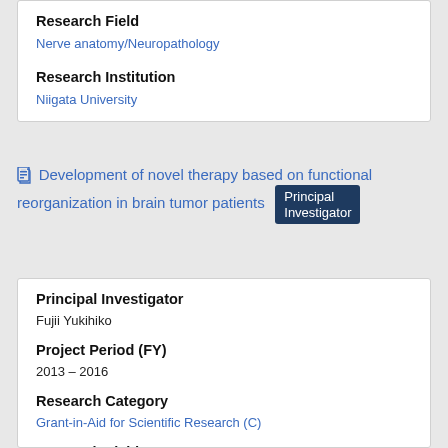Research Field
Nerve anatomy/Neuropathology
Research Institution
Niigata University
Development of novel therapy based on functional reorganization in brain tumor patients Principal Investigator
Principal Investigator
Fujii Yukihiko
Project Period (FY)
2013 – 2016
Research Category
Grant-in-Aid for Scientific Research (C)
Research Field